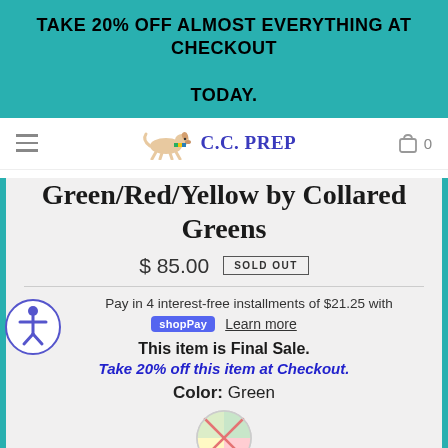TAKE 20% OFF ALMOST EVERYTHING AT CHECKOUT TODAY.
[Figure (logo): C.C. PREP logo with running dog illustration and hamburger menu, navigation bar with cart icon showing 0]
Green/Red/Yellow by Collared Greens
$ 85.00  SOLD OUT
Pay in 4 interest-free installments of $21.25 with shop Pay  Learn more
This item is Final Sale.
Take 20% off this item at Checkout.
Color: Green
[Figure (illustration): Color swatch circle showing green/red/yellow pattern with an X overlay indicating sold out]